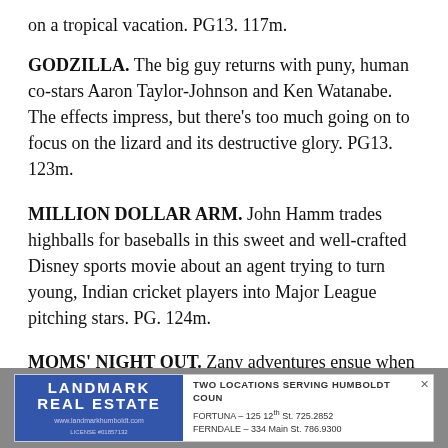on a tropical vacation. PG13. 117m.
GODZILLA. The big guy returns with puny, human co-stars Aaron Taylor-Johnson and Ken Watanabe. The effects impress, but there's too much going on to focus on the lizard and its destructive glory. PG13. 123m.
MILLION DOLLAR ARM. John Hamm trades highballs for baseballs in this sweet and well-crafted Disney sports movie about an agent trying to turn young, Indian cricket players into Major League pitching stars. PG. 124m.
MOMS' NIGHT OUT. Zany adventures ensue when a group of mothers take the evening off, leaving the kids
[Figure (other): Landmark Real Estate advertisement banner. Blue logo on left reading LANDMARK REAL ESTATE with website www.landmarkhumboldt.com and license #01857132. Right side reads TWO LOCATIONS SERVING HUMBOLDT COUN, FORTUNA - 125 12th St. 725.2852, FERNDALE - 334 Main St. 786.9300]